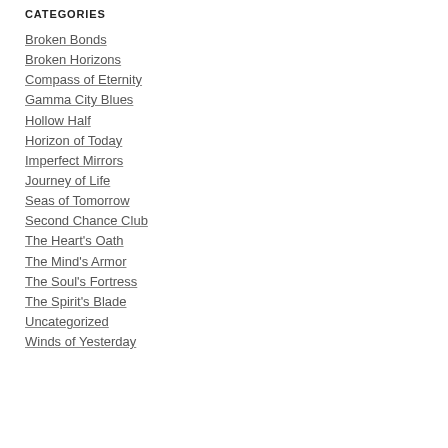CATEGORIES
Broken Bonds
Broken Horizons
Compass of Eternity
Gamma City Blues
Hollow Half
Horizon of Today
Imperfect Mirrors
Journey of Life
Seas of Tomorrow
Second Chance Club
The Heart's Oath
The Mind's Armor
The Soul's Fortress
The Spirit's Blade
Uncategorized
Winds of Yesterday